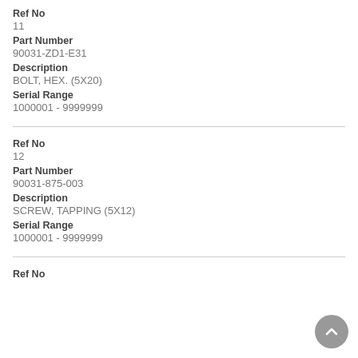Ref No
11
Part Number
90031-ZD1-E31
Description
BOLT, HEX. (5X20)
Serial Range
1000001 - 9999999
Ref No
12
Part Number
90031-875-003
Description
SCREW, TAPPING (5X12)
Serial Range
1000001 - 9999999
Ref No